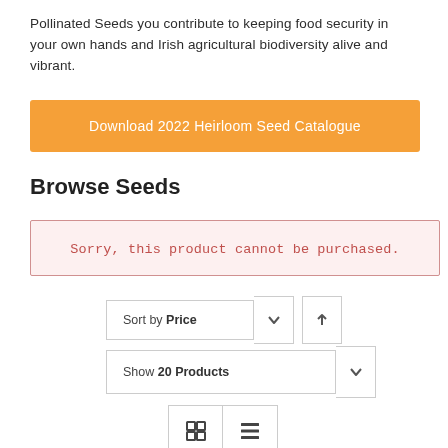Pollinated Seeds you contribute to keeping food security in your own hands and Irish agricultural biodiversity alive and vibrant.
[Figure (other): Orange button: Download 2022 Heirloom Seed Catalogue]
Browse Seeds
Sorry, this product cannot be purchased.
[Figure (screenshot): Sort by Price dropdown with up arrow button]
[Figure (screenshot): Show 20 Products dropdown]
[Figure (screenshot): Grid and list view toggle buttons]